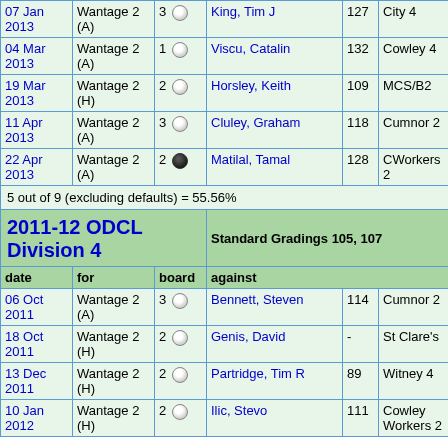| date | for | board | against |  |  | result |
| --- | --- | --- | --- | --- | --- | --- |
| 07 Jan 2013 | Wantage 2 (A) | 3 ● | King, Tim J | 127 | City 4 | 0 |
| 04 Mar 2013 | Wantage 2 (A) | 1 ● | Viscu, Catalin | 132 | Cowley 4 | 0 |
| 19 Mar 2013 | Wantage 2 (H) | 2 ● | Horsley, Keith | 109 | MCS/B2 | 0 |
| 11 Apr 2013 | Wantage 2 (A) | 3 ● | Cluley, Graham | 118 | Cumnor 2 | 0 |
| 22 Apr 2013 | Wantage 2 (A) | 2 ● | Matilal, Tamal | 128 | CWorkers 2 | 1 |
5 out of 9 (excluding defaults) = 55.56%
2011-12 ODCL Division 4
Standard Gradings 105, 107
| date | for | board | against |  |  | result |
| --- | --- | --- | --- | --- | --- | --- |
| 06 Oct 2011 | Wantage 2 (A) | 3 ● | Bennett, Steven | 114 | Cumnor 2 | 0.5 |
| 18 Oct 2011 | Wantage 2 (H) | 2 ● | Genis, David | - | St Clare's | 0.5 |
| 13 Dec 2011 | Wantage 2 (H) | 2 ● | Partridge, Tim R | 89 | Witney 4 | 1 |
| 10 Jan 2012 | Wantage 2 (H) | 2 ● | Ilic, Stevo | 111 | Cowley Workers 2 | 0.5 |